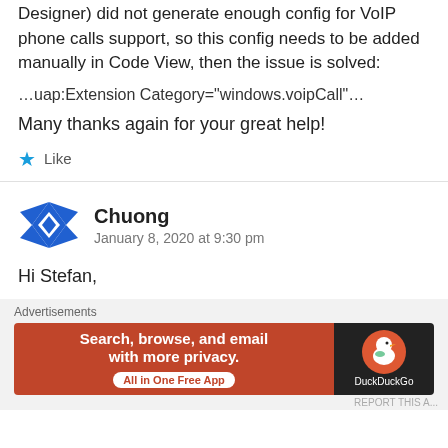Designer) did not generate enough config for VoIP phone calls support, so this config needs to be added manually in Code View, then the issue is solved:
...uap:Extension Category="windows.voipCall"...
Many thanks again for your great help!
Like
Chuong
January 8, 2020 at 9:30 pm
Hi Stefan,
Advertisements
[Figure (screenshot): DuckDuckGo advertisement banner: orange background with text 'Search, browse, and email with more privacy. All in One Free App' and DuckDuckGo logo on dark background]